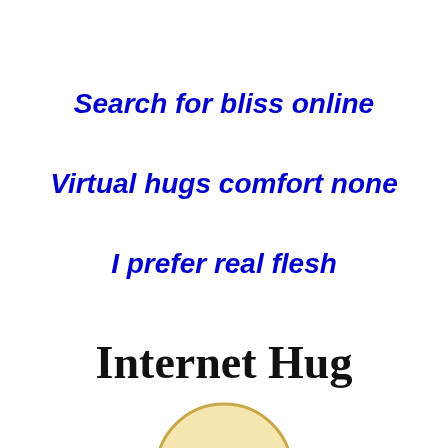Search for bliss online
Virtual hugs comfort none
I prefer real flesh
Internet Hug
[Figure (illustration): Partial illustration of a cartoon character's head (round, light yellow/beige colored) visible at the bottom of the page, appearing as if peeking up from below.]